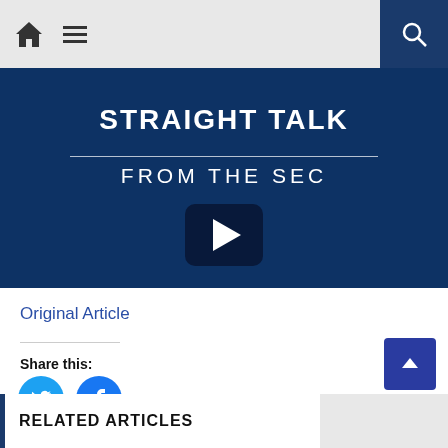Home | Menu | Search
[Figure (screenshot): Video thumbnail with dark blue background showing 'STRAIGHT TALK FROM THE SEC' title and a play button]
Original Article
Share this:
[Figure (illustration): Twitter and Facebook social share icons]
RELATED ARTICLES